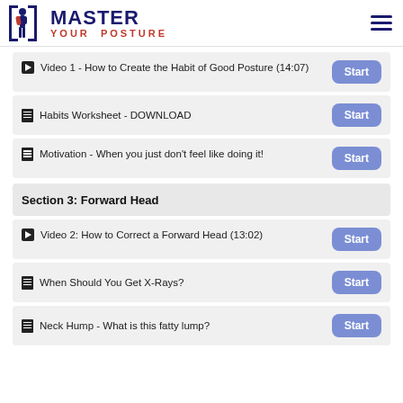MASTER YOUR POSTURE
Video 1 - How to Create the Habit of Good Posture (14:07)
Habits Worksheet - DOWNLOAD
Motivation - When you just don't feel like doing it!
Section 3: Forward Head
Video 2: How to Correct a Forward Head (13:02)
When Should You Get X-Rays?
Neck Hump - What is this fatty lump?